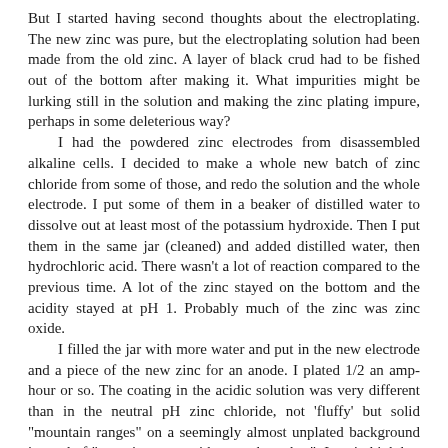But I started having second thoughts about the electroplating. The new zinc was pure, but the electroplating solution had been made from the old zinc. A layer of black crud had to be fished out of the bottom after making it. What impurities might be lurking still in the solution and making the zinc plating impure, perhaps in some deleterious way?
    I had the powdered zinc electrodes from disassembled alkaline cells. I decided to make a whole new batch of zinc chloride from some of those, and redo the solution and the whole electrode. I put some of them in a beaker of distilled water to dissolve out at least most of the potassium hydroxide. Then I put them in the same jar (cleaned) and added distilled water, then hydrochloric acid. There wasn't a lot of reaction compared to the previous time. A lot of the zinc stayed on the bottom and the acidity stayed at pH 1. Probably much of the zinc was zinc oxide.
    I filled the jar with more water and put in the new electrode and a piece of the new zinc for an anode. I plated 1/2 an amp-hour or so. The coating in the acidic solution was very different than in the neutral pH zinc chloride, not 'fluffy' but solid "mountain ranges" on a seemingly almost unplated background instead of "towering trees with many branches". I can't think but that these must have far less surface area - but they also don't crumble off. Perhaps I can find a pH that will give some "optimal" result, a more solid yet still somewhat fluffy coating, perhaps at pH 3 or 4. Or perhaps a higher or lower current would give a more uniform as well as more